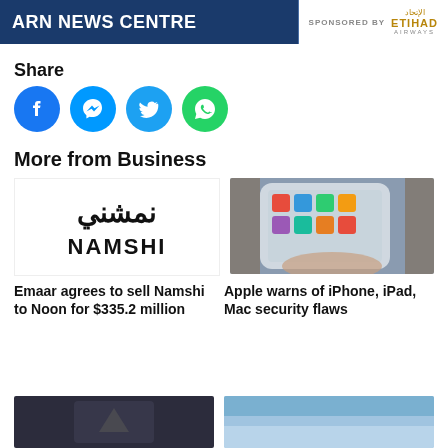ARN NEWS CENTRE — SPONSORED BY ETIHAD AIRWAYS
Share
[Figure (infographic): Four social media share buttons: Facebook (blue circle), Messenger (light blue circle), Twitter (blue circle), WhatsApp (green circle)]
More from Business
[Figure (logo): Namshi logo — Arabic script above, NAMSHI in Latin letters below, black on white]
[Figure (photo): Hand holding a white iPhone displaying colorful app icons on screen, resting on a wooden surface]
Emaar agrees to sell Namshi to Noon for $335.2 million
Apple warns of iPhone, iPad, Mac security flaws
[Figure (photo): Dark-toned partial image at bottom left, details obscured]
[Figure (photo): Sky-blue toned partial image at bottom right, details obscured]